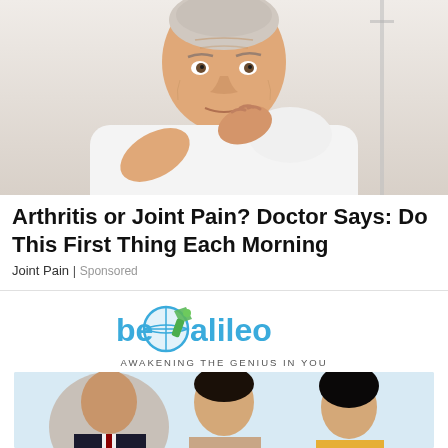[Figure (photo): Elderly man in white shirt holding his shoulder in pain, against a light background]
Arthritis or Joint Pain? Doctor Says: Do This First Thing Each Morning
Joint Pain | Sponsored
[Figure (logo): beGalileo logo with globe icon and text 'AWAKENING THE GENIUS IN YOU']
[Figure (photo): Three people (two women and one man) against a light blue background, promotional image for beGalileo]